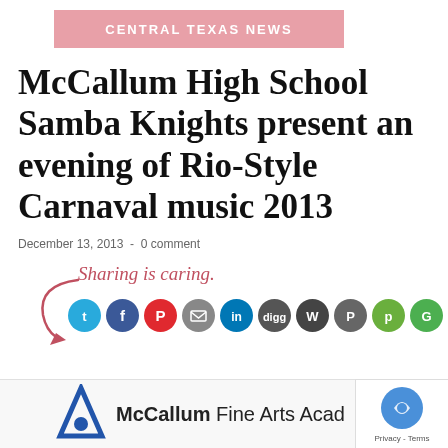CENTRAL TEXAS NEWS
McCallum High School Samba Knights present an evening of Rio-Style Carnaval music 2013
December 13, 2013  -  0 comment
[Figure (infographic): Sharing is caring social share widget with arrow graphic and multiple social media icons (Twitter, Facebook, Pinterest, Email, LinkedIn, Digg, WordPress, Pocket, PrintFriendly, Google, More)]
[Figure (logo): McCallum Fine Arts Academy logo with blue triangle/A icon and text 'McCallum Fine Arts Acad...']